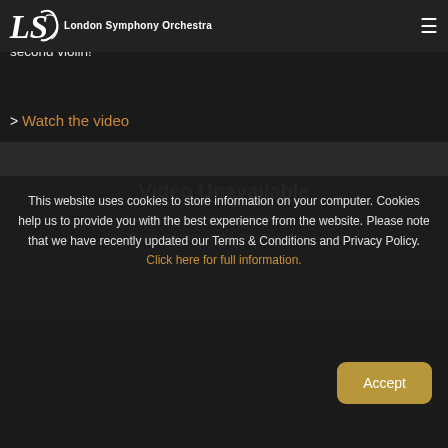LSO — London Symphony Orchestra
(occasionally raucous!) on tour dining experiences, and our (s) of business some would say the latter an essential quality to bring a second violin!'
> Watch the video
[Figure (screenshot): Video Unavailable panel: 'This video can't be embedded because it may contain content owned by someone else.' with 'Watch on Facebook · Learn more.' links below]
This website uses cookies to store information on your computer. Cookies help us to provide you with the best experience from the website. Please note that we have recently updated our Terms & Conditions and Privacy Policy. Click here for full information.